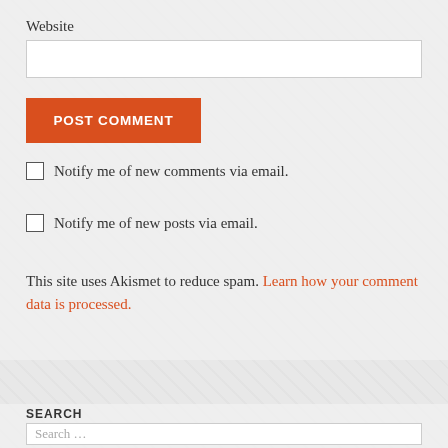Website
POST COMMENT
Notify me of new comments via email.
Notify me of new posts via email.
This site uses Akismet to reduce spam. Learn how your comment data is processed.
[Figure (photo): Colorful banner strip of magazine/comic covers]
SEARCH
Search ...